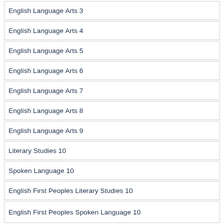English Language Arts 3
English Language Arts 4
English Language Arts 5
English Language Arts 6
English Language Arts 7
English Language Arts 8
English Language Arts 9
Literary Studies 10
Spoken Language 10
English First Peoples Literary Studies 10
English First Peoples Spoken Language 10